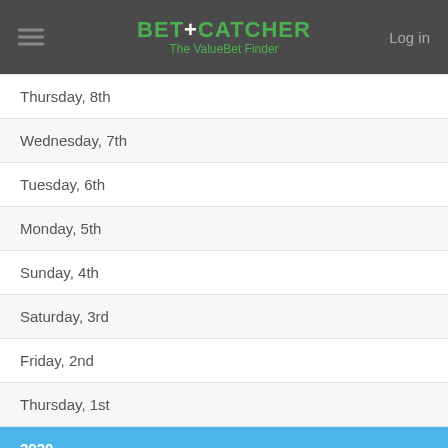BET+CATCHER The ValueBet Finder
Thursday, 8th
Wednesday, 7th
Tuesday, 6th
Monday, 5th
Sunday, 4th
Saturday, 3rd
Friday, 2nd
Thursday, 1st
2020
Wednesday, 30th
Tuesday, 29th
Monday, 28th
Sunday, 27th